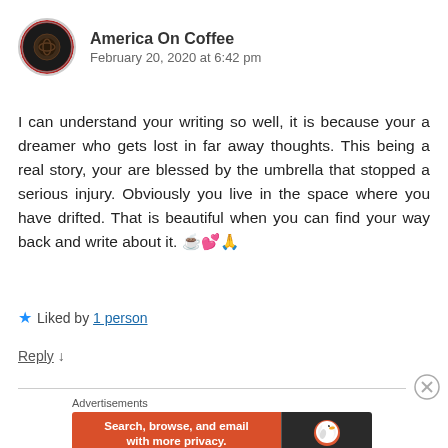[Figure (photo): Circular avatar image of America On Coffee account — dark coffee bean graphic on circular background with red border]
America On Coffee
February 20, 2020 at 6:42 pm
I can understand your writing so well, it is because your a dreamer who gets lost in far away thoughts. This being a real story, your are blessed by the umbrella that stopped a serious injury. Obviously you live in the space where you have drifted. That is beautiful when you can find your way back and write about it. ☕💕🙏
★ Liked by 1 person
Reply ↓
[Figure (screenshot): DuckDuckGo advertisement banner: orange section says 'Search, browse, and email with more privacy. All in One Free App' and dark section shows DuckDuckGo duck logo and DuckDuckGo text]